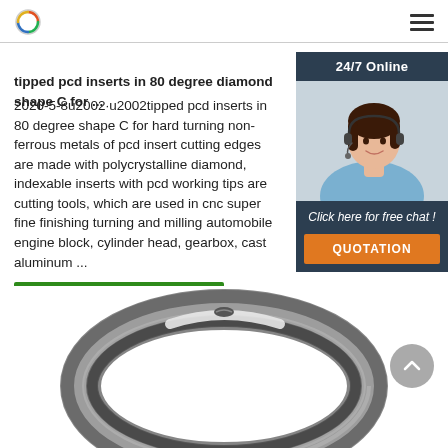[logo] [hamburger menu]
tipped pcd inserts in 80 degree diamond shape C for ...
2020-5-8u2002·u2002tipped pcd inserts in 80 degree diamond shape C for hard turning non-ferrous metals of pcd insert cutting edges are made with polycrystalline diamond, indexable inserts with pcd working tips are precision cutting tools, which are used in cnc super fine finishing turning and milling automobile engine block, cylinder head, gearbox, cast aluminum ...
Get Price
[Figure (other): 24/7 Online customer service widget with agent photo, click here for free chat, and QUOTATION button]
[Figure (photo): Close-up photo of a metallic ring/O-ring product (shiny chrome/steel finish)]